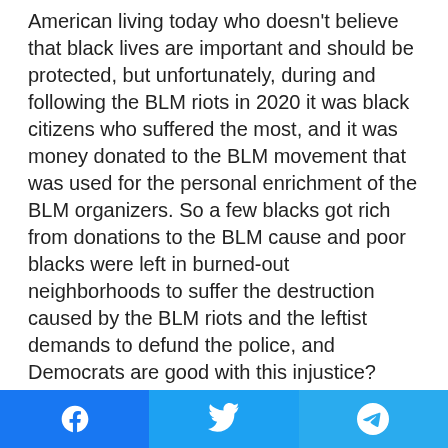American living today who doesn't believe that black lives are important and should be protected, but unfortunately, during and following the BLM riots in 2020 it was black citizens who suffered the most, and it was money donated to the BLM movement that was used for the personal enrichment of the BLM organizers. So a few blacks got rich from donations to the BLM cause and poor blacks were left in burned-out neighborhoods to suffer the destruction caused by the BLM riots and the leftist demands to defund the police, and Democrats are good with this injustice?
Congress Shall Make No Law...:
This phrase in the Constitution refers to the practice of religious freedom, the silencing of free speech
Facebook | Twitter | Telegram